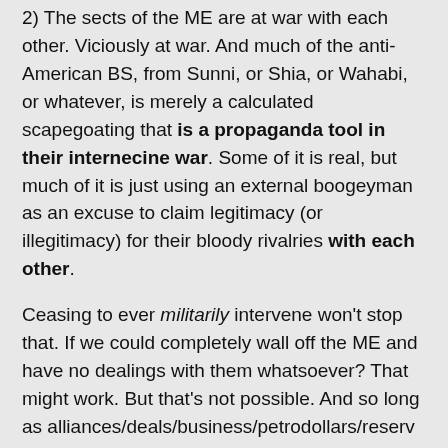2) The sects of the ME are at war with each other. Viciously at war. And much of the anti-American BS, from Sunni, or Shia, or Wahabi, or whatever, is merely a calculated scapegoating that is a propaganda tool in their internecine war. Some of it is real, but much of it is just using an external boogeyman as an excuse to claim legitimacy (or illegitimacy) for their bloody rivalries with each other.
Ceasing to ever militarily intervene won't stop that. If we could completely wall off the ME and have no dealings with them whatsoever? That might work. But that's not possible. And so long as alliances/deals/business/petrodollars/reserv